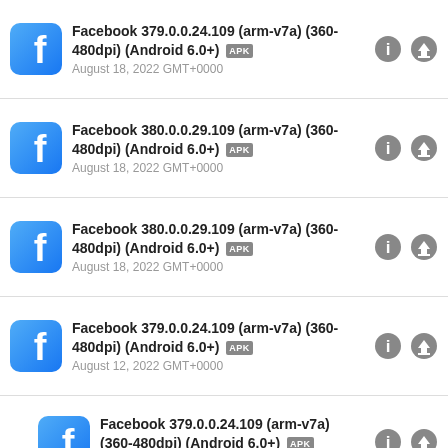Facebook 379.0.0.24.109 (arm-v7a) (360-480dpi) (Android 6.0+) APK — August 18, 2022 GMT+0000
Facebook 380.0.0.29.109 (arm-v7a) (360-480dpi) (Android 6.0+) APK — August 18, 2022 GMT+0000
Facebook 380.0.0.29.109 (arm-v7a) (360-480dpi) (Android 6.0+) APK — August 18, 2022 GMT+0000
Facebook 379.0.0.24.109 (arm-v7a) (360-480dpi) (Android 6.0+) APK — August 12, 2022 GMT+0000
Facebook 379.0.0.24.109 (arm-v7a) (360-480dpi) (Android 6.0+) APK — August 12, 2022 GMT+0000
[Figure (infographic): Advertisement banner: Book a Same Day Appointment, Hair Cuttery, with HC logo and navigation arrow icon]